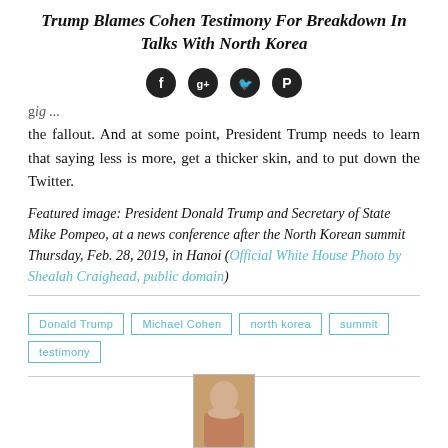Trump Blames Cohen Testimony For Breakdown In Talks With North Korea
[Figure (infographic): Social media share icons: Facebook, Google+, Twitter, Pinterest — dark circular buttons]
the fallout. And at some point, President Trump needs to learn that saying less is more, get a thicker skin, and to put down the Twitter.
Featured image: President Donald Trump and Secretary of State Mike Pompeo, at a news conference after the North Korean summit Thursday, Feb. 28, 2019, in Hanoi (Official White House Photo by Shealah Craighead, public domain)
Donald Trump
Michael Cohen
north korea
summit
testimony
[Figure (photo): Thumbnail photo of a person, partially visible at bottom of page]